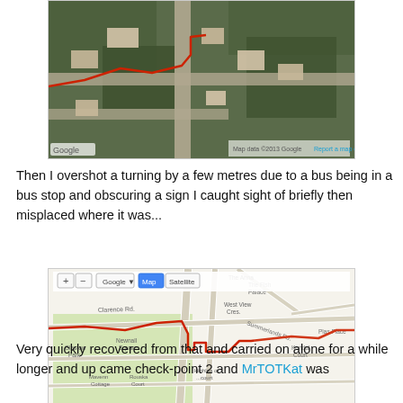[Figure (map): Google satellite aerial map showing a residential area with roads and a red route line drawn on it. Google logo visible in bottom-left corner.]
Then I overshot a turning by a few metres due to a bus being in a bus stop and obscuring a sign I caught sight of briefly then misplaced where it was...
[Figure (map): Google street map showing a route traced in red through streets including Clarence Road area, with map controls (+ -, Google, Map, Satellite buttons) visible at top. Google logo and map data attribution visible at bottom.]
Very quickly recovered from that and carried on alone for a while longer and up came check-point 2 and MrTOTKat was